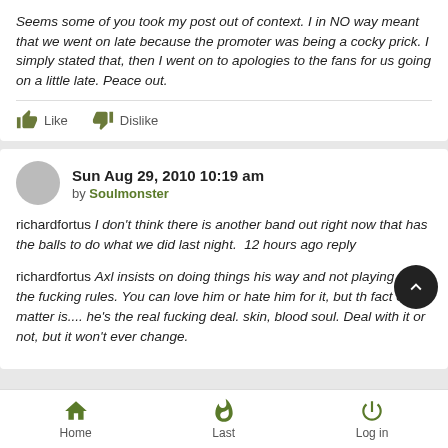Seems some of you took my post out of context. I in NO way meant that we went on late because the promoter was being a cocky prick. I simply stated that, then I went on to apologies to the fans for us going on a little late. Peace out.
Like  Dislike
Sun Aug 29, 2010 10:19 am by Soulmonster
richardfortus I don't think there is another band out right now that has the balls to do what we did last night. 12 hours ago reply
richardfortus Axl insists on doing things his way and not playing by the fucking rules. You can love him or hate him for it, but the fact of the matter is.... he's the real fucking deal. skin, blood soul. Deal with it or not, but it won't ever change.
Home  Last  Log in